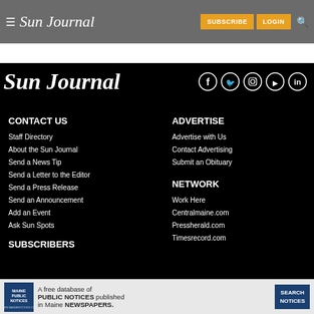Sun Journal — SUBSCRIBE  LOGIN
[Figure (logo): Sun Journal logo in white serif italic text on black background with social media icons (Facebook, Twitter, Instagram, YouTube, LinkedIn)]
CONTACT US
Staff Directory
About the Sun Journal
Send a News Tip
Send a Letter to the Editor
Send a Press Release
Send an Announcement
Add an Event
Ask Sun Spots
SUBSCRIBERS
ADVERTISE
Advertise with Us
Contact Advertising
Submit an Obituary
NETWORK
Work Here
Centralmaine.com
Pressherald.com
Timesrecord.com
[Figure (infographic): Maine Public Notices advertisement banner: A free database of PUBLIC NOTICES published in Maine NEWSPAPERS. SEARCH NOTICES button.]